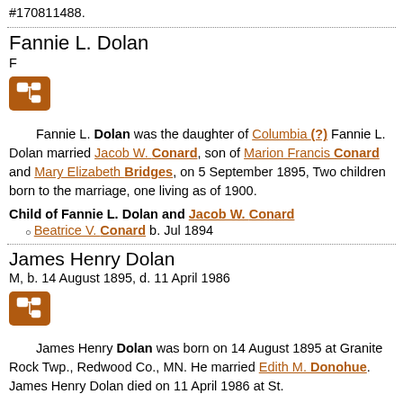#170811488.
Fannie L. Dolan
F
[Figure (other): Pedigree/family tree icon button (orange/brown square button with genealogy tree icon)]
Fannie L. Dolan was the daughter of Columbia (?) Fannie L. Dolan married Jacob W. Conard, son of Marion Francis Conard and Mary Elizabeth Bridges, on 5 September 1895, Two children born to the marriage, one living as of 1900.
Child of Fannie L. Dolan and Jacob W. Conard
Beatrice V. Conard b. Jul 1894
James Henry Dolan
M, b. 14 August 1895, d. 11 April 1986
[Figure (other): Pedigree/family tree icon button (orange/brown square button with genealogy tree icon)]
James Henry Dolan was born on 14 August 1895 at Granite Rock Twp., Redwood Co., MN. He married Edith M. Donohue. James Henry Dolan died on 11 April 1986 at St.